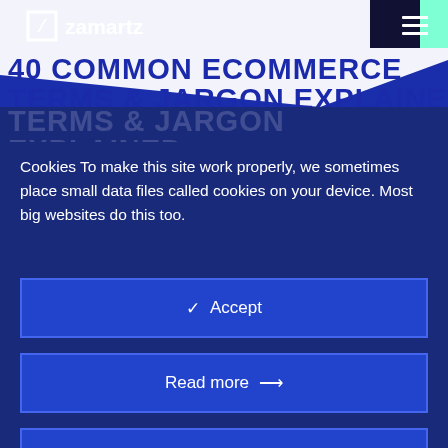[Figure (logo): Zamartz logo with Z icon and hamburger menu on blue header background]
40 COMMON ECOMMERCE TERMS & JARGON EXPLAINED
Cookies To make this site work properly, we sometimes place small data files called cookies on your device. Most big websites do this too.
✓  Accept
Read more  →
Change Settings  ⚙